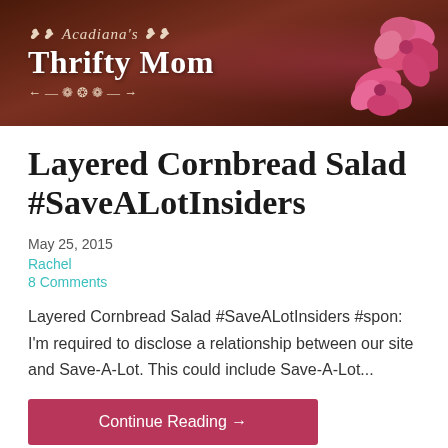[Figure (illustration): Blog header banner for Acadiana's Thrifty Mom with dark wood background, pink flowers on right, and white cursive/serif text logo]
Layered Cornbread Salad #SaveALotInsiders
May 25, 2015
Rachel
8 Comments
Layered Cornbread Salad #SaveALotInsiders #spon: I'm required to disclose a relationship between our site and Save-A-Lot. This could include Save-A-Lot...
Continue Reading →